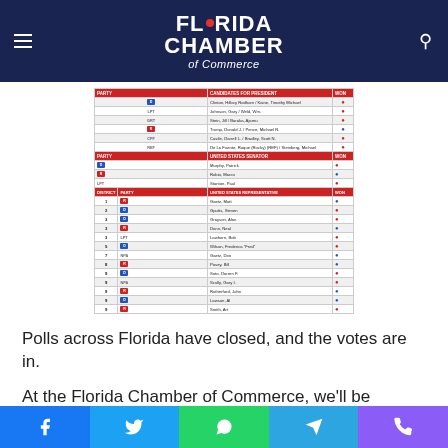Florida Chamber of Commerce
[Figure (table-as-image): Election results table showing candidates for US Senate and US House of Representatives races in Florida, with party affiliations and win indicators]
Polls across Florida have closed, and the votes are in.
At the Florida Chamber of Commerce, we'll be working through the night to provide a detailed analysis of all 2016
Social sharing bar: Facebook, Twitter, WhatsApp, Telegram, Phone